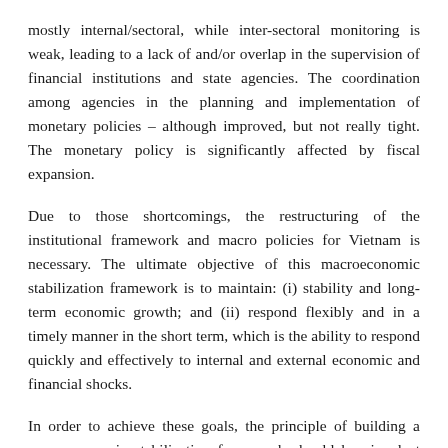mostly internal/sectoral, while inter-sectoral monitoring is weak, leading to a lack of and/or overlap in the supervision of financial institutions and state agencies. The coordination among agencies in the planning and implementation of monetary policies – although improved, but not really tight. The monetary policy is significantly affected by fiscal expansion.
Due to those shortcomings, the restructuring of the institutional framework and macro policies for Vietnam is necessary. The ultimate objective of this macroeconomic stabilization framework is to maintain: (i) stability and long-term economic growth; and (ii) respond flexibly and in a timely manner in the short term, which is the ability to respond quickly and effectively to internal and external economic and financial shocks.
In order to achieve these goals, the principle of building a macroeconomic stabilization framework should be aimed at gaining the confidence of businesses, investors, financial markets and the people. At the same time, the institutional